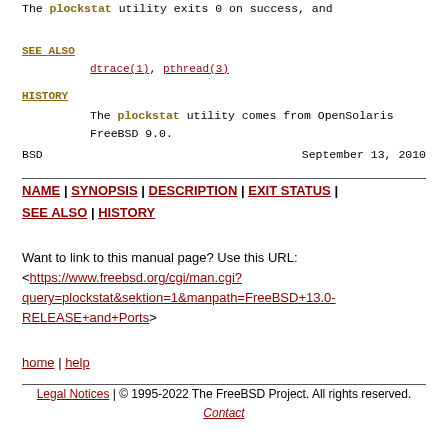The plockstat utility exits 0 on success, and
SEE ALSO
dtrace(1), pthread(3)
HISTORY
The plockstat utility comes from OpenSolaris FreeBSD 9.0.
BSD                                    September 13, 2010
NAME | SYNOPSIS | DESCRIPTION | EXIT STATUS | SEE ALSO | HISTORY
Want to link to this manual page? Use this URL: <https://www.freebsd.org/cgi/man.cgi?query=plockstat&sektion=1&manpath=FreeBSD+13.0-RELEASE+and+Ports>
home | help
Legal Notices | © 1995-2022 The FreeBSD Project. All rights reserved. Contact